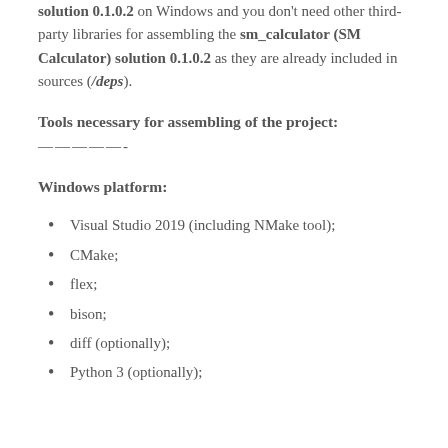solution 0.1.0.2 on Windows and you don't need other third-party libraries for assembling the sm_calculator (SM Calculator) solution 0.1.0.2 as they are already included in sources (/deps).
Tools necessary for assembling of the project:
—————-
Windows platform:
Visual Studio 2019 (including NMake tool);
CMake;
flex;
bison;
diff (optionally);
Python 3 (optionally);